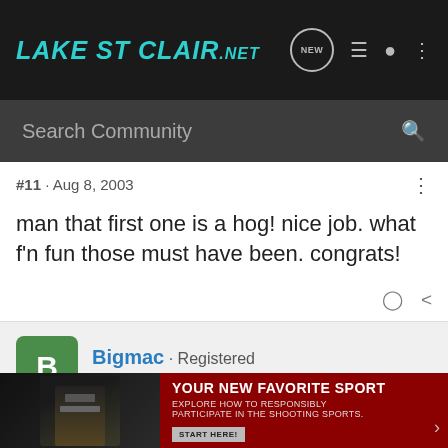LakeStClair.NET
Search Community
#11 · Aug 8, 2003
man that first one is a hog! nice job. what f'n fun those must have been. congrats!
Bigmac · Registered
Joined Jul 13, 2003 · 19 Posts
#12 · Au
[Figure (screenshot): Advertisement banner: YOUR NEW FAVORITE SPORT - EXPLORE HOW TO RESPONSIBLY PARTICIPATE IN THE SHOOTING SPORTS. START HERE!]